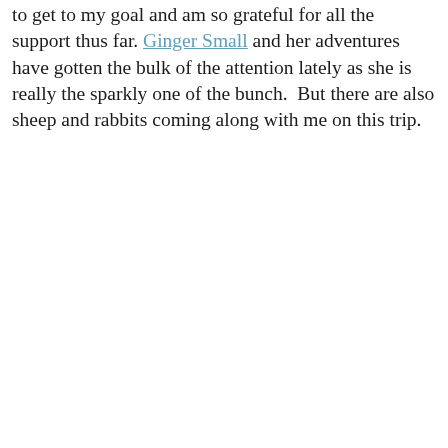to get to my goal and am so grateful for all the support thus far. Ginger Small and her adventures have gotten the bulk of the attention lately as she is really the sparkly one of the bunch. But there are also sheep and rabbits coming along with me on this trip.